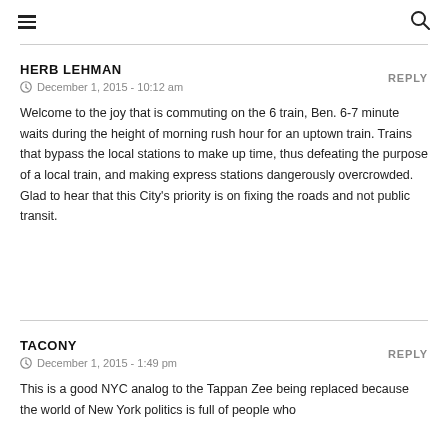≡  🔍
HERB LEHMAN
December 1, 2015 - 10:12 am
Welcome to the joy that is commuting on the 6 train, Ben. 6-7 minute waits during the height of morning rush hour for an uptown train. Trains that bypass the local stations to make up time, thus defeating the purpose of a local train, and making express stations dangerously overcrowded. Glad to hear that this City's priority is on fixing the roads and not public transit.
TACONY
December 1, 2015 - 1:49 pm
This is a good NYC analog to the Tappan Zee being replaced because the world of New York politics is full of people who